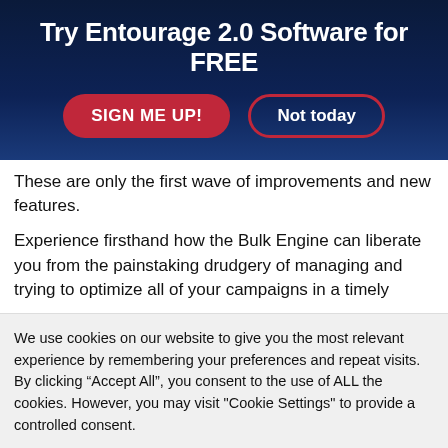Try Entourage 2.0 Software for FREE
[Figure (other): Two buttons: 'SIGN ME UP!' (red filled, pill-shaped) and 'Not today' (transparent with red border, pill-shaped)]
These are only the first wave of improvements and new features.
Experience firsthand how the Bulk Engine can liberate you from the painstaking drudgery of managing and trying to optimize all of your campaigns in a timely
We use cookies on our website to give you the most relevant experience by remembering your preferences and repeat visits. By clicking “Accept All”, you consent to the use of ALL the cookies. However, you may visit "Cookie Settings" to provide a controlled consent.
[Figure (other): Two buttons: 'Accept All' (green) and 'Cookie Settings' (gray)]